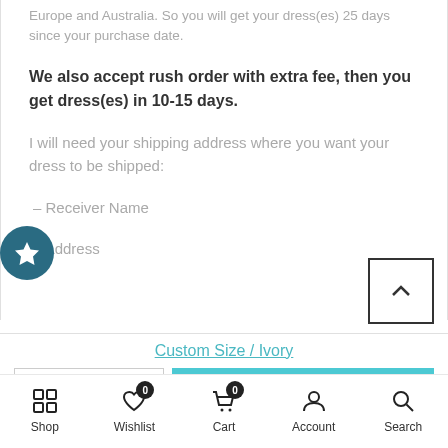Europe and Australia. So you will get your dress(es) 25 days since your purchase date.
We also accept rush order with extra fee, then you get dress(es) in 10-15 days.
I will need your shipping address where you want your dress to be shipped:
- Receiver Name
- Address
Custom Size / Ivory
ADD TO CART
Shop | Wishlist 0 | Cart 0 | Account | Search